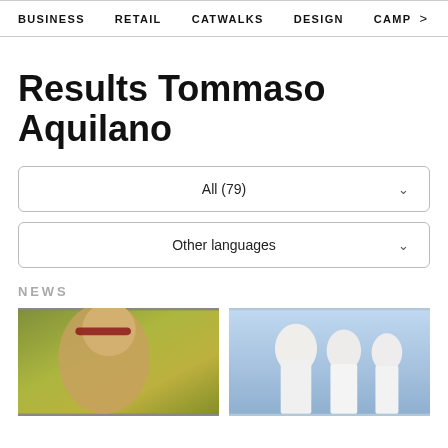BUSINESS   RETAIL   CATWALKS   DESIGN   CAMP >
Results Tommaso Aquilano
All (79)
Other languages
NEWS
[Figure (photo): Woman with blonde hair and red sunglasses wearing green/yellow outfit, street style photo]
[Figure (photo): Models in white outfits on runway or fashion show setting with blue/grey background]